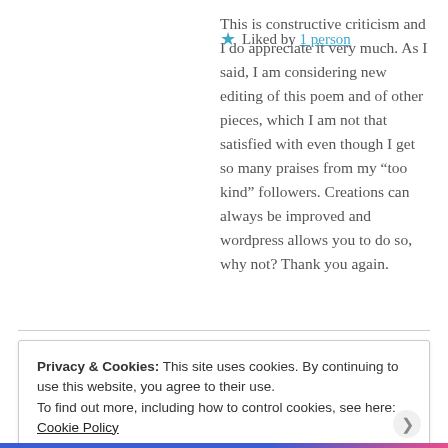This is constructive criticism and I do appreciate it very much. As I said, I am considering new editing of this poem and of other pieces, which I am not that satisfied with even though I get so many praises from my “too kind” followers. Creations can always be improved and wordpress allows you to do so, why not? Thank you again.
Liked by 1 person
Privacy & Cookies: This site uses cookies. By continuing to use this website, you agree to their use.
To find out more, including how to control cookies, see here: Cookie Policy
Close and accept